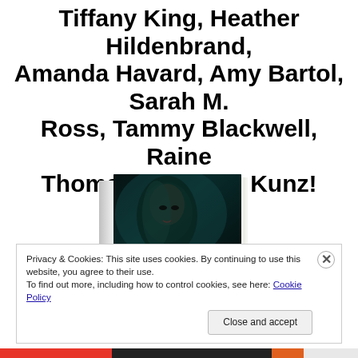Tiffany King, Heather Hildenbrand, Amanda Havard, Amy Bartol, Sarah M. Ross, Tammy Blackwell, Raine Thomas, and C.A. Kunz!
[Figure (photo): A book cover showing a young woman with dark teal-green hair against a dark background, displayed in 3D book format.]
Privacy & Cookies: This site uses cookies. By continuing to use this website, you agree to their use.
To find out more, including how to control cookies, see here: Cookie Policy
Close and accept